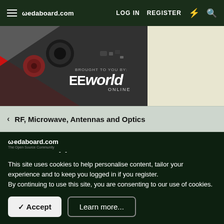edaboard.com — LOG IN  REGISTER
[Figure (screenshot): Advertisement banner showing electronic components with EEworld Online branding on dark background with red triangle accent]
< RF, Microwave, Antennas and Optics
edaboard.com
Connect with us
This site uses cookies to help personalise content, tailor your experience and to keep you logged in if you register.
By continuing to use this site, you are consenting to our use of cookies.
✓ Accept    Learn more...